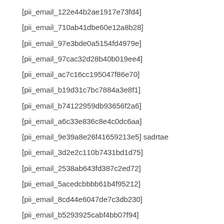[pii_email_122e44b2ae1917e73fd4]
[pii_email_710ab41dbe60e12a8b28]
[pii_email_97e3bde0a5154fd4979e]
[pii_email_97cac32d28b40b019ee4]
[pii_email_ac7c16cc195047f86e70]
[pii_email_b19d31c7bc7884a3e8f1]
[pii_email_b74122959db93656f2a6]
[pii_email_a6c33e836c8e4c0dc6aa]
[pii_email_9e39a8e26f41659213e5] sadrtae
[pii_email_3d2e2c110b7431bd1d75]
[pii_email_2538ab643fd387c2ed72]
[pii_email_5acedcbbbb61b4f95212]
[pii_email_8cd44e6047de7c3db230]
[pii_email_b5293925cabf4bb07f94]
[pii_email_17d1dd6f206561101fd8]
[pii_email_54ad50a5123f5087a7b0]
[pii_email_d2004079e8eb882afcaa]
[pii_email_7e166d193fde390d0bb1]